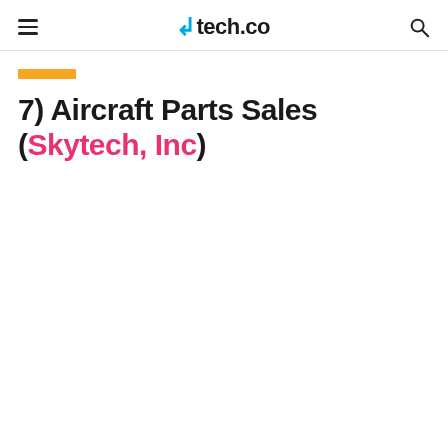tech.co
7) Aircraft Parts Sales (Skytech, Inc)